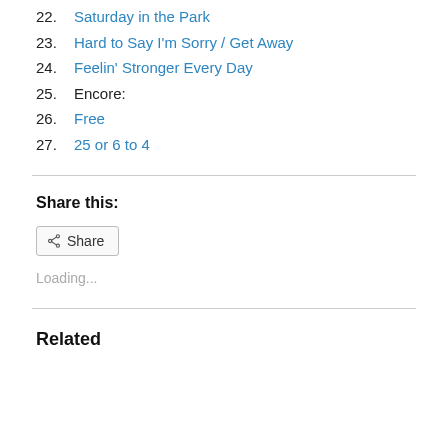22. Saturday in the Park
23. Hard to Say I'm Sorry / Get Away
24. Feelin' Stronger Every Day
25. Encore:
26. Free
27. 25 or 6 to 4
Share this:
Share
Loading...
Related